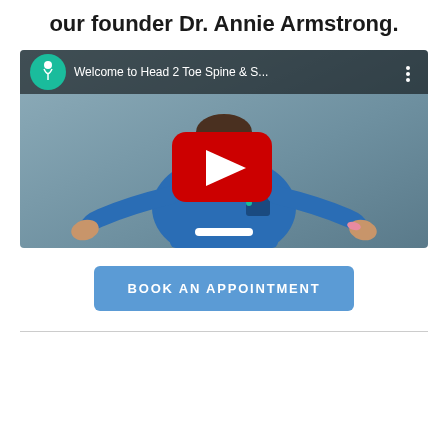our founder Dr. Annie Armstrong.
[Figure (screenshot): YouTube video embed titled 'Welcome to Head 2 Toe Spine & S...' showing a woman in blue scrubs with arms outstretched, a red YouTube play button in the center, and the Head 2 Toe logo in the top-left corner.]
BOOK AN APPOINTMENT